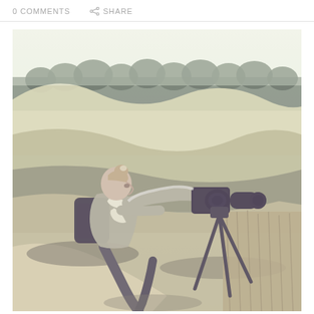0 COMMENTS  SHARE
[Figure (photo): A woman crouching outdoors on a sandy path, looking through a DSLR camera mounted on a tripod. She has her hair in a bun, wears a light gray long-sleeve top, a scarf, and a black backpack. The background shows rolling grassy dunes and a line of green trees under an overcast sky. The photo has a vintage, washed-out color treatment.]